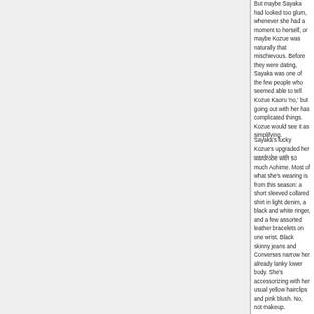But maybe Sayaka had looked too glum, whenever she had a moment to herself, or maybe Kozue was naturally that mischievous. Before they were dating, Sayaka was one of the few people who seemed able to tell Kozue Kaoru 'no,' but going out with her has complicated things. Kozue would see it as simplifying.
Sayaka's lucky Kozue's upgraded her wardrobe with so much Aohime. Most of what she's wearing is from this season: a short sleeved collared shirt in light denim, a black and white ringer, and a few assorted leather bracelets on one wrist. Black skinny jeans and Converses narrow her already lanky lower body. She's accessorizing with her usual yellow hairclips and pink blush. No, not makeup.